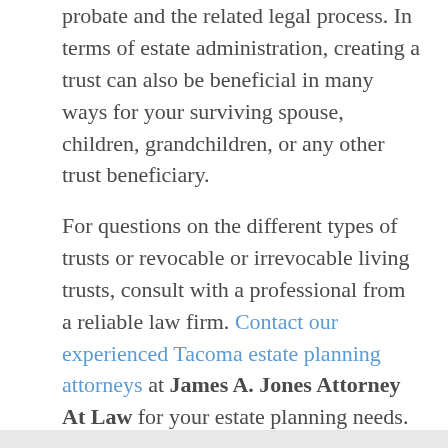probate and the related legal process. In terms of estate administration, creating a trust can also be beneficial in many ways for your surviving spouse, children, grandchildren, or any other trust beneficiary.
For questions on the different types of trusts or revocable or irrevocable living trusts, consult with a professional from a reliable law firm. Contact our experienced Tacoma estate planning attorneys at James A. Jones Attorney At Law for your estate planning needs.